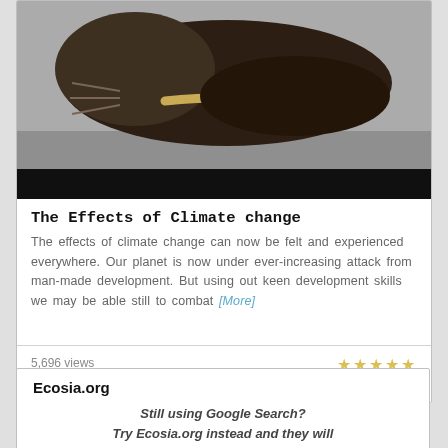[Figure (photo): A walrus or similar marine mammal resting on ice or rock, viewed from above]
The Effects of Climate change
The effects of climate change can now be felt and experienced everywhere. Our planet is now under ever-increasing attack from man-made development. But using out keen development skills we may be able still to combat [More]
5,696 views
no comments
Ecosia.org
Still using Google Search?
Try Ecosia.org instead and they will plant trees if you do!
Seems like a good idea to us!
https://thegreenorganisation.info/